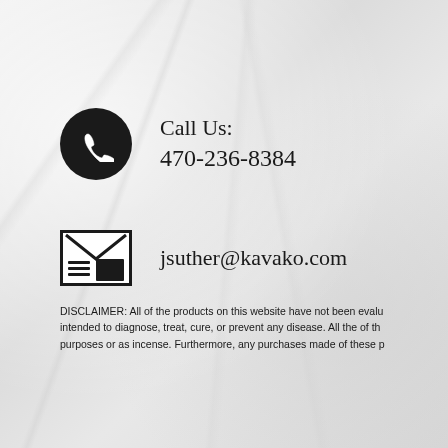Call Us:
470-236-8384
jsuther@kavako.com
DISCLAIMER: All of the products on this website have not been evalu intended to diagnose, treat, cure, or prevent any disease. All the of th purposes or as incense. Furthermore, any purchases made of these p